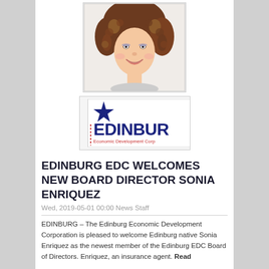[Figure (photo): Headshot photo of a young woman with curly brown hair, smiling, against a white background.]
[Figure (logo): Edinburg Economic Development Corporation logo showing a blue star and the text 'EDINBURG' in large bold navy letters with 'Economic Development Corp' in red below.]
EDINBURG EDC WELCOMES NEW BOARD DIRECTOR SONIA ENRIQUEZ
Wed, 2019-05-01 00:00 News Staff
EDINBURG – The Edinburg Economic Development Corporation is pleased to welcome Edinburg native Sonia Enriquez as the newest member of the Edinburg EDC Board of Directors. Enriquez, an insurance agent. Read